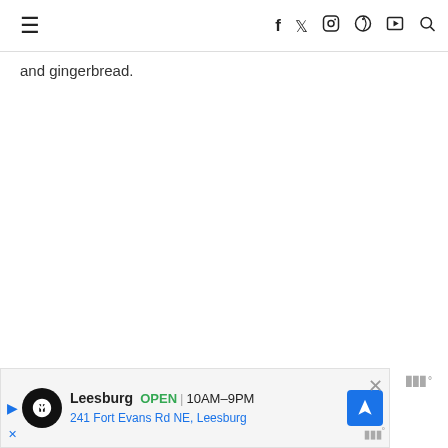≡  f  🐦  📷  Pinterest  YouTube  🔍
and gingerbread.
[Figure (other): Weather widget badge showing WWº]
45. Mickey Santa Loungefly backpack
46.
[Figure (other): Advertisement banner: Leesburg OPEN 10AM-9PM, 241 Fort Evans Rd NE, Leesburg with close button and navigation icon]